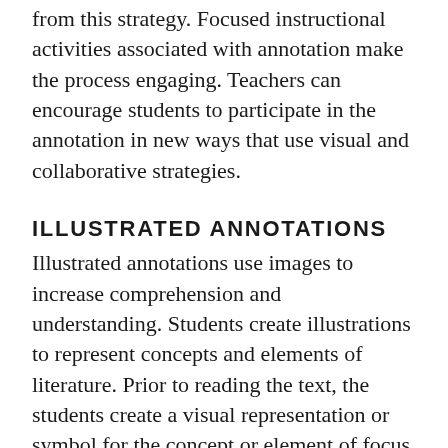from this strategy. Focused instructional activities associated with annotation make the process engaging. Teachers can encourage students to participate in the annotation in new ways that use visual and collaborative strategies.
ILLUSTRATED ANNOTATIONS
Illustrated annotations use images to increase comprehension and understanding. Students create illustrations to represent concepts and elements of literature. Prior to reading the text, the students create a visual representation or symbol for the concept or element of focus for the learning target. When the students annotate the text, they